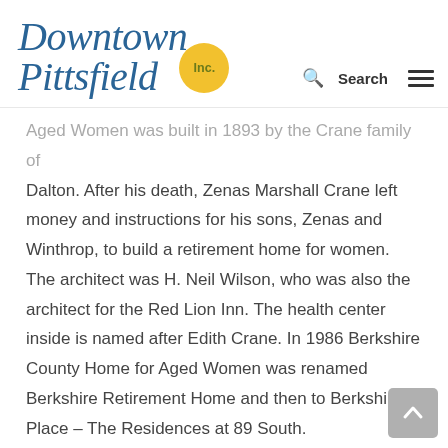Downtown Pittsfield Inc. — Search navigation
Aged Women was built in 1893 by the Crane family of Dalton. After his death, Zenas Marshall Crane left money and instructions for his sons, Zenas and Winthrop, to build a retirement home for women. The architect was H. Neil Wilson, who was also the architect for the Red Lion Inn. The health center inside is named after Edith Crane. In 1986 Berkshire County Home for Aged Women was renamed Berkshire Retirement Home and then to Berkshire Place – The Residences at 89 South.
Berkshire Hotel, 7 North Street
The Berkshire House, or as it came to be named, the